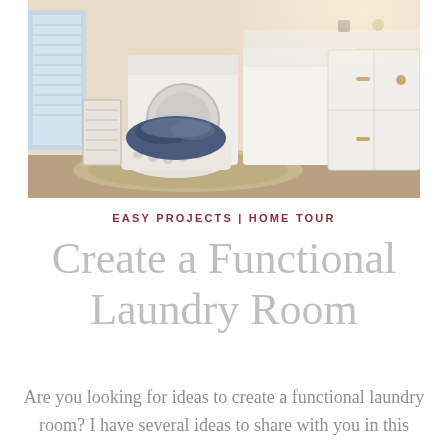[Figure (photo): Laundry room with white washer and dryer, white cabinets, a wicker laundry basket filled with blue clothing, a patterned rug on wood floor, and a window with blinds on the left.]
EASY PROJECTS | HOME TOUR
Create a Functional Laundry Room
Are you looking for ideas to create a functional laundry room? I have several ideas to share with you in this